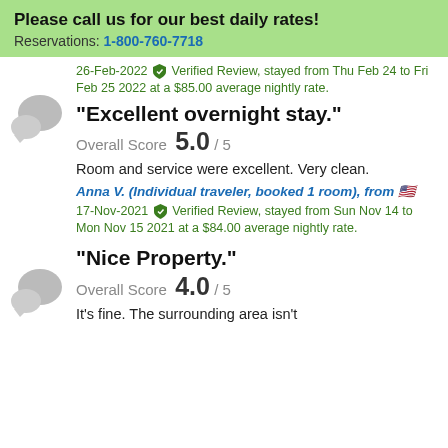Please call us for our best daily rates! Reservations: 1-800-760-7718
26-Feb-2022 Verified Review, stayed from Thu Feb 24 to Fri Feb 25 2022 at a $85.00 average nightly rate.
"Excellent overnight stay."
Overall Score 5.0 / 5
Room and service were excellent. Very clean.
Anna V. (Individual traveler, booked 1 room), from 🇺🇸
17-Nov-2021 Verified Review, stayed from Sun Nov 14 to Mon Nov 15 2021 at a $84.00 average nightly rate.
"Nice Property."
Overall Score 4.0 / 5
It's fine. The surrounding area isn't